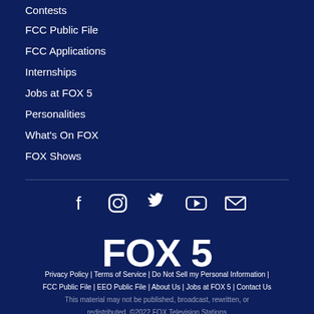Contests
FCC Public File
FCC Applications
Internships
Jobs at FOX 5
Personalities
What's On FOX
FOX Shows
[Figure (logo): FOX 5 logo in white bold text on dark navy background]
Privacy Policy | Terms of Service | Do Not Sell my Personal Information | FCC Public File | EEO Public File | About Us | Jobs at FOX 5 | Contact Us
This material may not be published, broadcast, rewritten, or redistributed. ©2022 FOX Television Stations